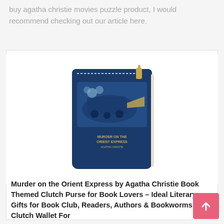buy agatha christie movies puzzle product, I would recommend checking out our article here.
[Figure (photo): A navy blue clutch purse with a zipper, featuring a Murder on the Orient Express by Agatha Christie book cover design with a train illustration and gold text.]
Murder on the Orient Express by Agatha Christie Book Themed Clutch Purse for Book Lovers – Ideal Literary Gifts for Book Club, Readers, Authors & Bookworms – Clutch Wallet For